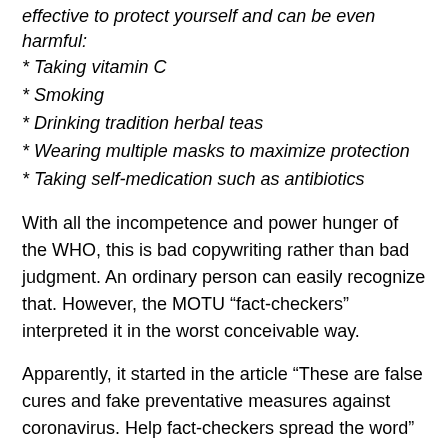effective to protect yourself and can be even harmful:
* Taking vitamin C
* Smoking
* Drinking tradition herbal teas
* Wearing multiple masks to maximize protection
* Taking self-medication such as antibiotics
With all the incompetence and power hunger of the WHO, this is bad copywriting rather than bad judgment. An ordinary person can easily recognize that. However, the MOTU “fact-checkers” interpreted it in the worst conceivable way.
Apparently, it started in the article “These are false cures and fake preventative measures against coronavirus. Help fact-checkers spread the word” (February 13) published by the Poynter Institute (the entity that certifies the fact-